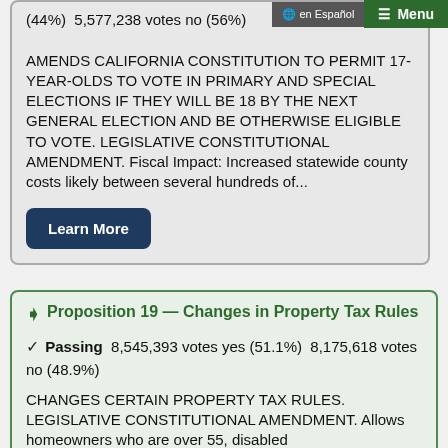(44%) 5,577,238 votes no (56%)
AMENDS CALIFORNIA CONSTITUTION TO PERMIT 17-YEAR-OLDS TO VOTE IN PRIMARY AND SPECIAL ELECTIONS IF THEY WILL BE 18 BY THE NEXT GENERAL ELECTION AND BE OTHERWISE ELIGIBLE TO VOTE. LEGISLATIVE CONSTITUTIONAL AMENDMENT. Fiscal Impact: Increased statewide county costs likely between several hundreds of...
Learn More
Proposition 19 — Changes in Property Tax Rules
Passing 8,545,393 votes yes (51.1%) 8,175,618 votes no (48.9%)
CHANGES CERTAIN PROPERTY TAX RULES. LEGISLATIVE CONSTITUTIONAL AMENDMENT. Allows homeowners who are over 55, disabled